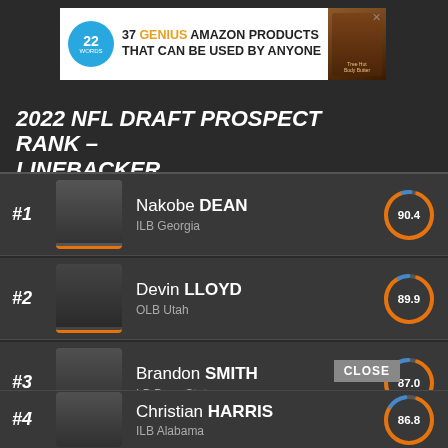[Figure (screenshot): Advertisement banner for '37 Genius Amazon Products That Can Be Used By Anyone' from 22 Words]
2022 NFL DRAFT PROSPECT RANK - LINEBACKER
#1 Nakobe DEAN | ILB Georgia | 90.4
#2 Devin LLOYD | OLB Utah | 89.9
#3 Brandon SMITH | LB Penn State | 87.0
#4 Christian HARRIS | ILB Alabama | 86.8